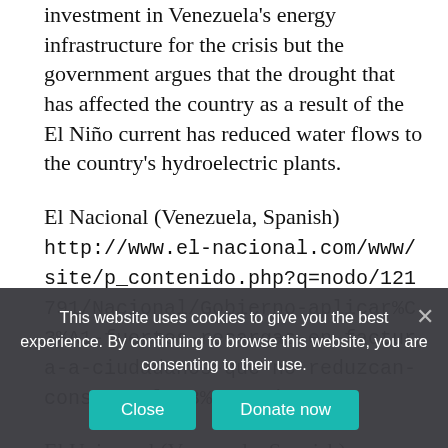investment in Venezuela's energy infrastructure for the crisis but the government argues that the drought that has affected the country as a result of the El Niño current has reduced water flows to the country's hydroelectric plants.
El Nacional (Venezuela, Spanish)
http://www.el-nacional.com/www/site/p_contenido.php?q=nodo/121791/Nacional/Gobierno-aplicar%C3%A1-fuertes-recargas-en-factura-a-ciudadanos-que-no-reduzcan-consumo-el%C3%A9ctrico
El Universal (Venezuela, Spanish)
This website uses cookies to give you the best experience. By continuing to browse this website, you are consenting to their use.